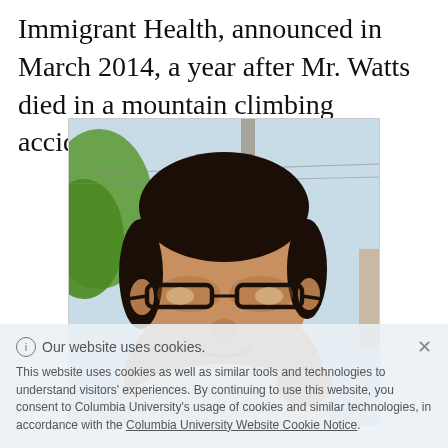Immigrant Health, announced in March 2014, a year after Mr. Watts died in a mountain climbing accident.
[Figure (photo): Portrait photograph of a young man with dark hair and glasses, partially obscured by a cookie consent overlay banner.]
Our website uses cookies.
This website uses cookies as well as similar tools and technologies to understand visitors' experiences. By continuing to use this website, you consent to Columbia University's usage of cookies and similar technologies, in accordance with the Columbia University Website Cookie Notice.